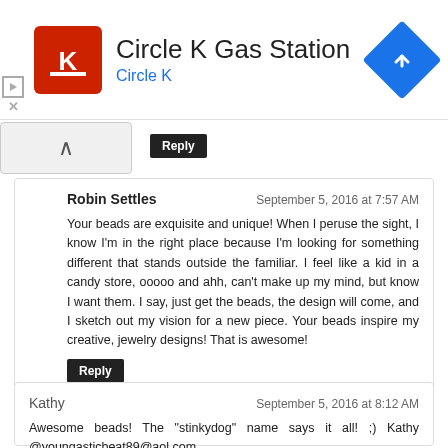[Figure (advertisement): Circle K Gas Station advertisement banner with red Circle K logo, text 'Circle K Gas Station' in dark gray and 'Circle K' in blue, and a blue diamond navigation icon on the right.]
Reply
Robin Settles
September 5, 2016 at 7:57 AM
Your beads are exquisite and unique! When I peruse the sight, I know I'm in the right place because I'm looking for something different that stands outside the familiar. I feel like a kid in a candy store, ooooo and ahh, can't make up my mind, but know I want them. I say, just get the beads, the design will come, and I sketch out my vision for a new piece. Your beads inspire my creative, jewelry designs! That is awesome!
Reply
Kathy
September 5, 2016 at 8:12 AM
Awesome beads! The "stinkydog" name says it all! ;) Kathy @youngasticbeat89@aol.com